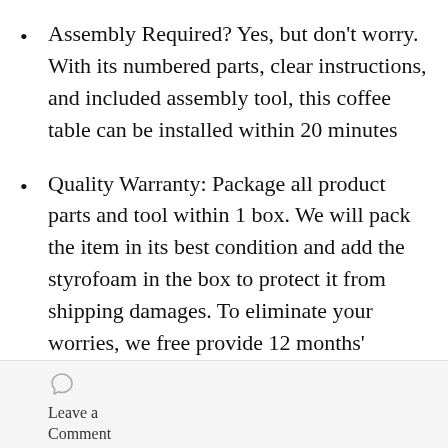Assembly Required? Yes, but don't worry. With its numbered parts, clear instructions, and included assembly tool, this coffee table can be installed within 20 minutes
Quality Warranty: Package all product parts and tool within 1 box. We will pack the item in its best condition and add the styrofoam in the box to protect it from shipping damages. To eliminate your worries, we free provide 12 months'
Leave a Comment